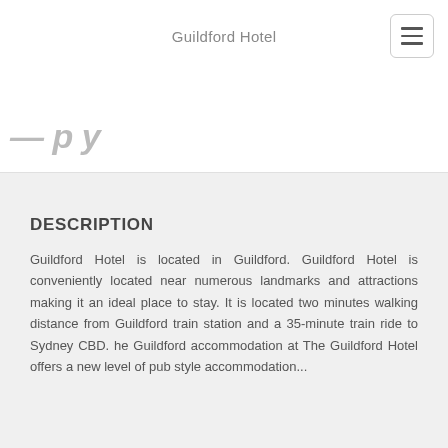Guildford Hotel
DESCRIPTION
Guildford Hotel is located in Guildford. Guildford Hotel is conveniently located near numerous landmarks and attractions making it an ideal place to stay. It is located two minutes walking distance from Guildford train station and a 35-minute train ride to Sydney CBD. he Guildford accommodation at The Guildford Hotel offers a new level of pub style accommodation...